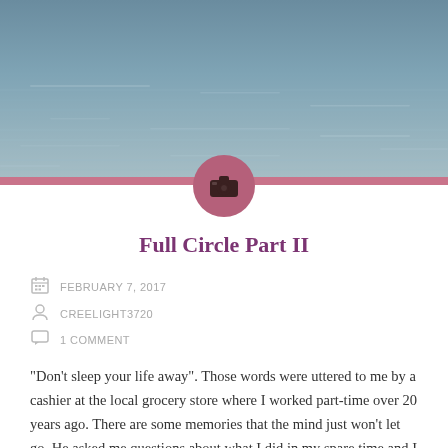[Figure (photo): Ocean or water surface photo with muted teal/gray tones, serving as hero banner image at top of blog post]
Full Circle Part II
FEBRUARY 7, 2017
CREELIGHT3720
1 COMMENT
"Don't sleep your life away". Those words were uttered to me by a cashier at the local grocery store where I worked part-time over 20 years ago. There are some memories that the mind just won't let go. He asked me questions about what I did in my spare time and I heard myself saying "sleep" several times. I was in the